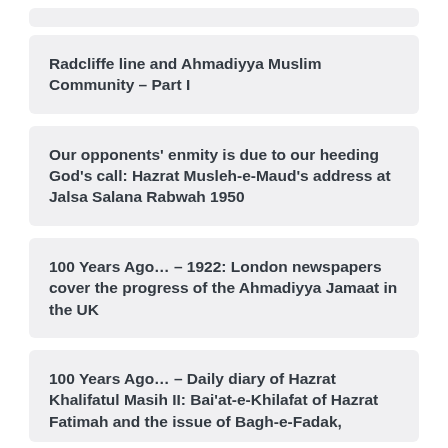Radcliffe line and Ahmadiyya Muslim Community – Part I
Our opponents' enmity is due to our heeding God's call: Hazrat Musleh-e-Maud's address at Jalsa Salana Rabwah 1950
100 Years Ago… – 1922: London newspapers cover the progress of the Ahmadiyya Jamaat in the UK
100 Years Ago… – Daily diary of Hazrat Khalifatul Masih II: Bai'at-e-Khilafat of Hazrat Fatimah and the issue of Bagh-e-Fadak, differences between generations and Islamic traditions